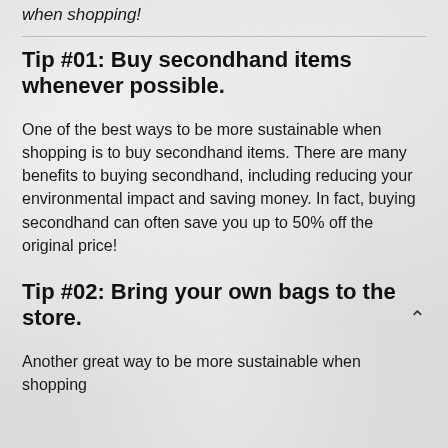when shopping!
Tip #01: Buy secondhand items whenever possible.
One of the best ways to be more sustainable when shopping is to buy secondhand items. There are many benefits to buying secondhand, including reducing your environmental impact and saving money. In fact, buying secondhand can often save you up to 50% off the original price!
Tip #02: Bring your own bags to the store.
Another great way to be more sustainable when shopping